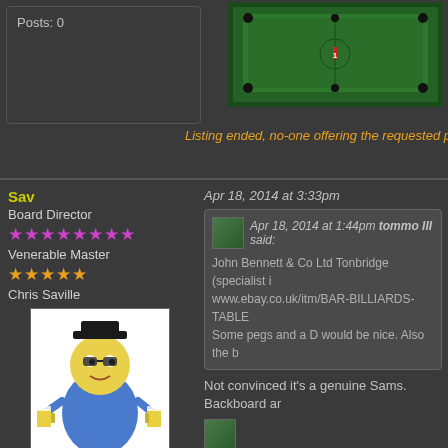Posts: 0
[Figure (photo): Green billiards/snooker table viewed from above]
Listing ended, no-one offering the requested price
Sav
Board Director
Venerable Master
Chris Saville
Apr 18, 2014 at 3:33pm
[Figure (illustration): Cartoon character of a rotund man in black hat holding beer mugs]
Apr 18, 2014 at 1:44pm tommo III said:
John Bennett & Co Ltd Tonbridge (specialist i
www.ebay.co.uk/itm/BAR-BILLIARDS-TABLE
Some pegs and a D would be nice. Also the b
Not convinced it's a genuine Sams. Backboard ar
Three miles high on an Indian Royal Enfield!
Posts: 9,324